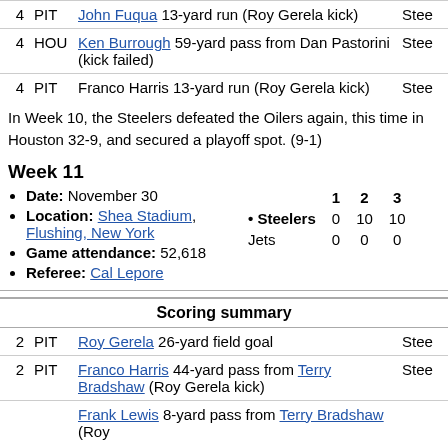| Q | Team | Description | Result |
| --- | --- | --- | --- |
| 4 | PIT | John Fuqua 13-yard run (Roy Gerela kick) | Stee |
| 4 | HOU | Ken Burrough 59-yard pass from Dan Pastorini (kick failed) | Stee |
| 4 | PIT | Franco Harris 13-yard run (Roy Gerela kick) | Stee |
In Week 10, the Steelers defeated the Oilers again, this time in Houston 32-9, and secured a playoff spot. (9-1)
Week 11
Date: November 30
Location: Shea Stadium, Flushing, New York
Game attendance: 52,618
Referee: Cal Lepore
|  | 1 | 2 | 3 |
| --- | --- | --- | --- |
| Steelers | 0 | 10 | 10 |
| Jets | 0 | 0 | 0 |
| Q | Team | Description | Result |
| --- | --- | --- | --- |
| 2 | PIT | Roy Gerela 26-yard field goal | Stee |
| 2 | PIT | Franco Harris 44-yard pass from Terry Bradshaw (Roy Gerela kick) | Stee |
|  |  | Frank Lewis 8-yard pass from Terry Bradshaw (Roy |  |